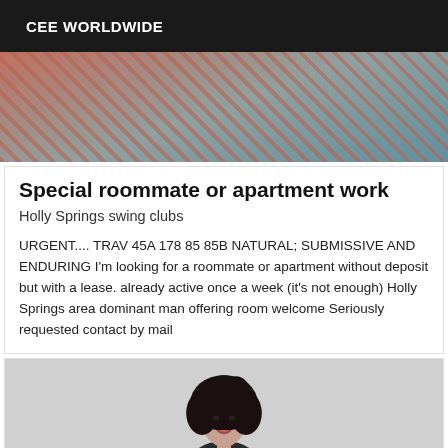CEE WORLDWIDE
[Figure (photo): Close-up photo showing fishnet stockings and striped fabric in warm tones]
Special roommate or apartment work
Holly Springs swing clubs
URGENT.... TRAV 45A 178 85 85B NATURAL; SUBMISSIVE AND ENDURING I'm looking for a roommate or apartment without deposit but with a lease. already active once a week (it's not enough) Holly Springs area dominant man offering room welcome Seriously requested contact by mail
[Figure (photo): Woman with dark curly hair, mouth open, wearing dark clothing, photographed against a light grey background]